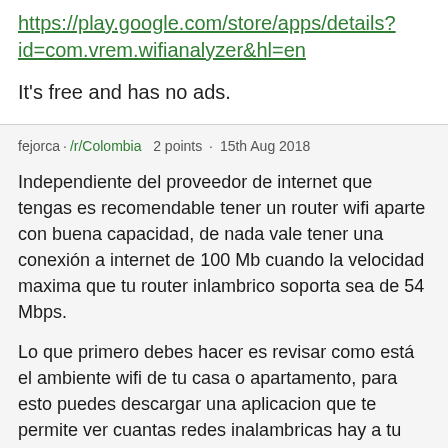https://play.google.com/store/apps/details?id=com.vrem.wifianalyzer&amp;hl=en
It's free and has no ads.
fejorca · /r/Colombia  2 points · 15th Aug 2018
Independiente del proveedor de internet que tengas es recomendable tener un router wifi aparte con buena capacidad, de nada vale tener una conexión a internet de 100 Mb cuando la velocidad maxima que tu router inlambrico soporta sea de 54 Mbps.
Lo que primero debes hacer es revisar como está el ambiente wifi de tu casa o apartamento, para esto puedes descargar una aplicacion que te permite ver cuantas redes inalambricas hay a tu alrededor, que canales usan y de que marca son (la aplicacion para android es esta, no hay version para iOS) ya que esta información es muy importante para poder